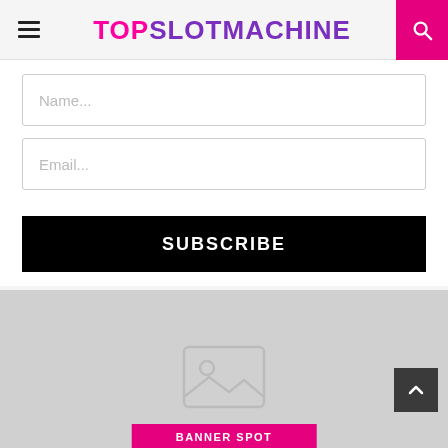TOPSLOTMACHINE
Name...
Email...
SUBSCRIBE
[Figure (other): Gray banner placeholder area with image icon, pink BANNER SPOT label, and back-to-top arrow button]